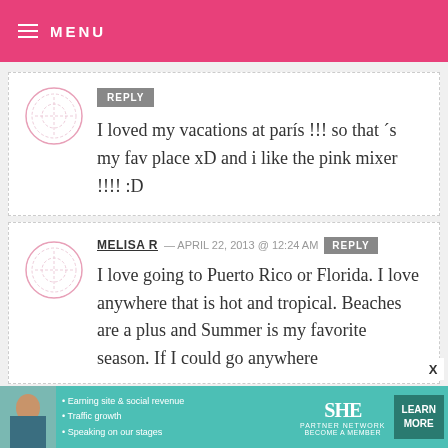MENU
I loved my vacations at parís !!! so that ´s my fav place xD and i like the pink mixer !!!! :D
MELISA R — APRIL 22, 2013 @ 12:24 AM
I love going to Puerto Rico or Florida. I love anywhere that is hot and tropical. Beaches are a plus and Summer is my favorite season. If I could go anywhere
[Figure (infographic): SHE Partner Network advertisement banner with woman photo, bullet points about Earning site & social revenue, Traffic growth, Speaking on our stages, and a Learn More button]